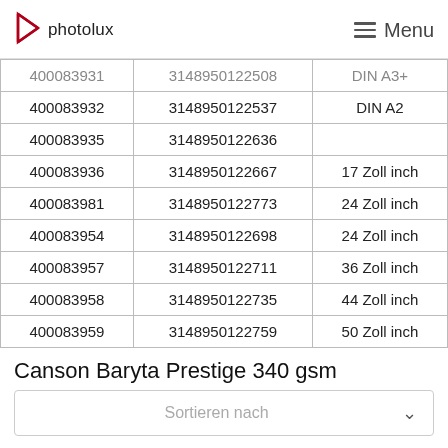photolux  Menu
| 400083931 | 3148950122508 | DIN A3+ |
| 400083932 | 3148950122537 | DIN A2 |
| 400083935 | 3148950122636 |  |
| 400083936 | 3148950122667 | 17 Zoll inch |
| 400083981 | 3148950122773 | 24 Zoll inch |
| 400083954 | 3148950122698 | 24 Zoll inch |
| 400083957 | 3148950122711 | 36 Zoll inch |
| 400083958 | 3148950122735 | 44 Zoll inch |
| 400083959 | 3148950122759 | 50 Zoll inch |
Canson Baryta Prestige 340 gsm
Sortieren nach